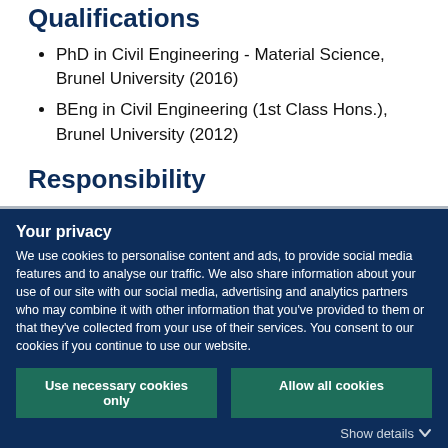Qualifications
PhD in Civil Engineering - Material Science, Brunel University (2016)
BEng in Civil Engineering (1st Class Hons.), Brunel University (2012)
Responsibility
Your privacy
We use cookies to personalise content and ads, to provide social media features and to analyse our traffic. We also share information about your use of our site with our social media, advertising and analytics partners who may combine it with other information that you've provided to them or that they've collected from your use of their services. You consent to our cookies if you continue to use our website.
Use necessary cookies only
Allow all cookies
Show details